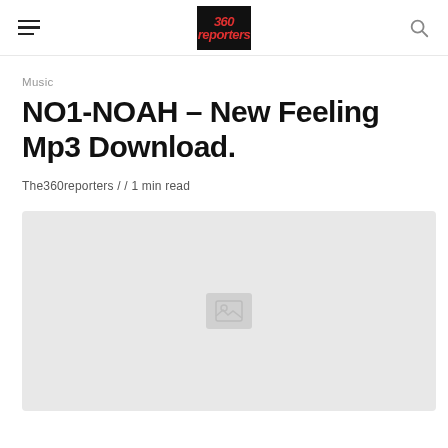[hamburger menu] [logo: 360reporters] [search icon]
Music
NO1-NOAH – New Feeling Mp3 Download.
The360reporters / / 1 min read
[Figure (photo): Article cover image placeholder with light gray background and a small image icon in the center]